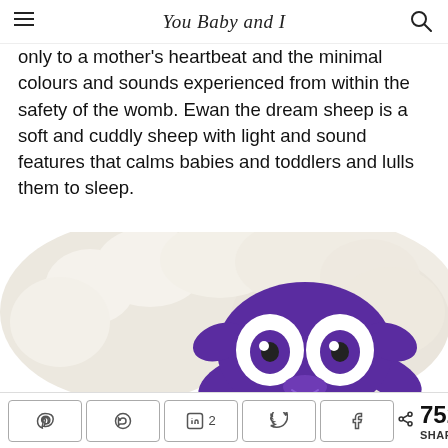You Baby and I
only to a mother's heartbeat and the minimal colours and sounds experienced from within the safety of the womb. Ewan the dream sheep is a soft and cuddly sheep with light and sound features that calms babies and toddlers and lulls them to sleep.
[Figure (photo): Photo of Ewan the dream sheep plush toy — a purple sheep head with large white cartoon eyes, purple fleece face and limbs, attached to a cream/white fluffy body, lying down against a white background.]
752 SHARES — social share buttons: Pinterest, WhatsApp, LinkedIn (2), Twitter, Facebook